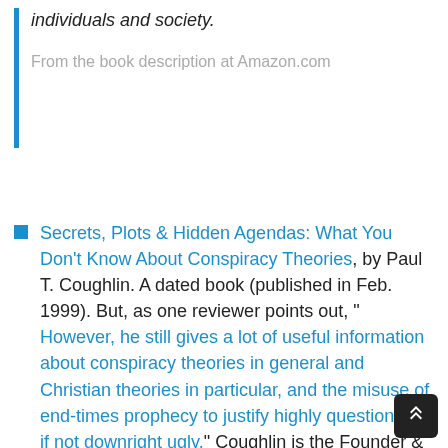individuals and society.
From the book description at Amazon.com
Secrets, Plots & Hidden Agendas: What You Don't Know About Conspiracy Theories, by Paul T. Coughlin. A dated book (published in Feb. 1999). But, as one reviewer points out, " However, he still gives a lot of useful information about conspiracy theories in general and Christian theories in particular, and the misuse of end-times prophecy to justify highly questionable if not downright ugly." Coughlin is the Founder &